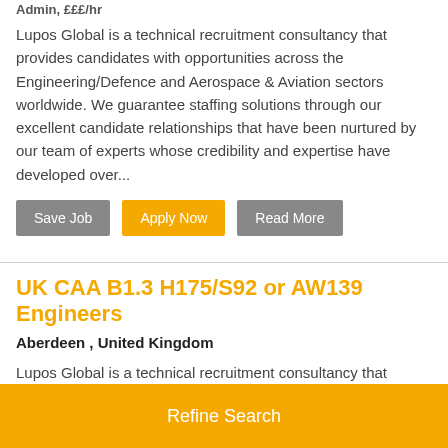Admin, £££/hr
Lupos Global is a technical recruitment consultancy that provides candidates with opportunities across the Engineering/Defence and Aerospace & Aviation sectors worldwide. We guarantee staffing solutions through our excellent candidate relationships that have been nurtured by our team of experts whose credibility and expertise have developed over...
Save Job | Apply Now | Read More
UK CAA B1.3 H175/S92 or AW139 Engineers
Aberdeen , United Kingdom
Lupos Global is a technical recruitment consultancy that provides candidates with opportunities across the Engineering/Defence and Aerospace & Aviation sectors worldwide. We guarantee staffing solutions through our team of experts whose credibility and expertise have
Refine Search